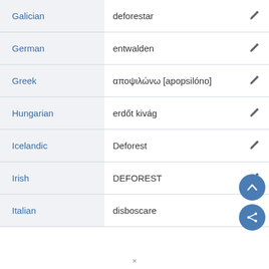| Language | Translation |  |
| --- | --- | --- |
| Galician | deforestar | ✏ |
| German | entwalden | ✏ |
| Greek | αποψιλώνω [apopsilóno] | ✏ |
| Hungarian | erdőt kivág | ✏ |
| Icelandic | Deforest | ✏ |
| Irish | DEFOREST | ✏ |
| Italian | disboscare | ✏ |